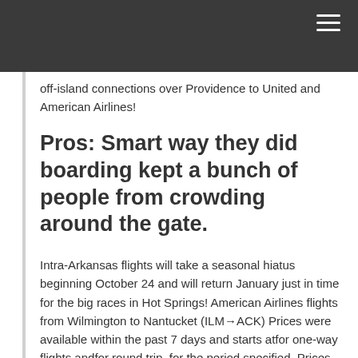≡
off-island connections over Providence to United and American Airlines!
Pros: Smart way they did boarding kept a bunch of people from crowding around the gate.
Intra-Arkansas flights will take a seasonal hiatus beginning October 24 and will return January just in time for the big races in Hot Springs! American Airlines flights from Wilmington to Nantucket (ILM→ACK) Prices were available within the past 7 days and starts atfor one-way flights andfor round trip, for the period specified. Prices and availability are subject to change. Additional terms apply. Jul 26. Browse flights as low as from Albert J. Ellis (OAJ)